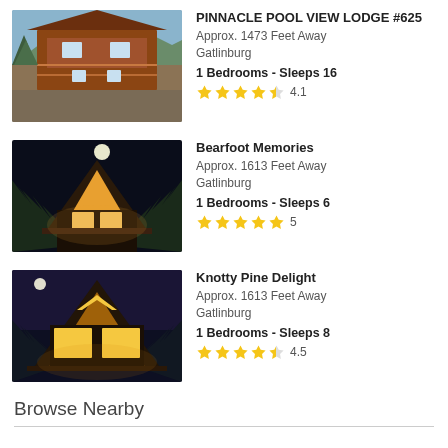[Figure (photo): Exterior photo of Pinnacle Pool View Lodge #625, a large multi-story wood cabin with decks, daytime shot with blue sky]
PINNACLE POOL VIEW LODGE #625
Approx. 1473 Feet Away
Gatlinburg
1 Bedrooms - Sleeps 16
★★★★½ 4.1
[Figure (photo): Exterior night photo of Bearfoot Memories cabin, A-frame style cabin lit from inside surrounded by dark trees with moon visible]
Bearfoot Memories
Approx. 1613 Feet Away
Gatlinburg
1 Bedrooms - Sleeps 6
★★★★★ 5
[Figure (photo): Exterior night photo of Knotty Pine Delight cabin, large A-frame cabin with bright interior lights and moon in sky]
Knotty Pine Delight
Approx. 1613 Feet Away
Gatlinburg
1 Bedrooms - Sleeps 8
★★★★½ 4.5
Browse Nearby